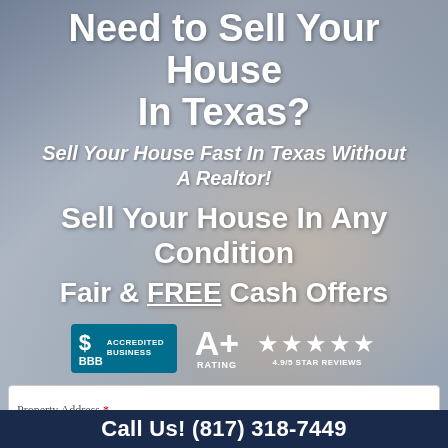Need to Sell Your House In Texas?
Sell Your House Fast In Texas Without A Realtor!
Sell Your House In Any Condition
Fair & FREE Cash Offers
[Figure (infographic): BBB Accredited Business badge (teal), A+ Rating badge, and 4.9/5 Star Reviews with four gold stars]
Property Address *
Call Us! (817) 318-7449